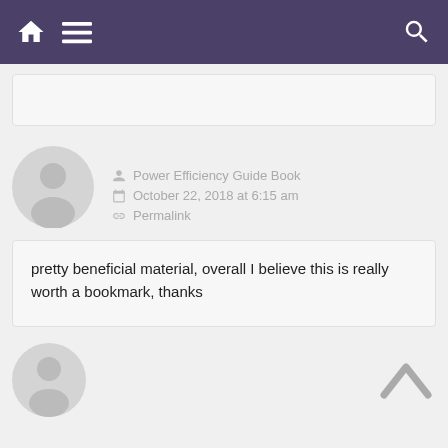Navigation bar with home, menu, and search icons
[Figure (other): Top comment box (empty/cut off)]
[Figure (other): User avatar - generic grey silhouette circle]
Power Efficiency Guide Book
October 22, 2018 at 6:15 am
Permalink
pretty beneficial material, overall I believe this is really worth a bookmark, thanks
[Figure (other): Second user avatar - generic grey silhouette circle at bottom]
[Figure (other): Up/back-to-top arrow chevron icon]